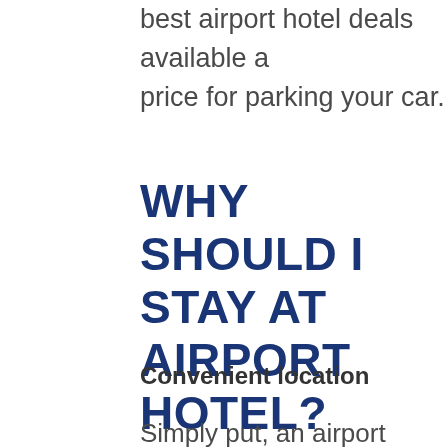best airport hotel deals available and the best price for parking your car.
WHY SHOULD I STAY AT AN AIRPORT HOTEL?
Convenient location
Simply put, an airport hotel is close to where you need to go. It means not having to get up in the morning or the middle of the night, there’s no need to panic about missing flights when the traffic looks bad. You’re almost at the airport already.